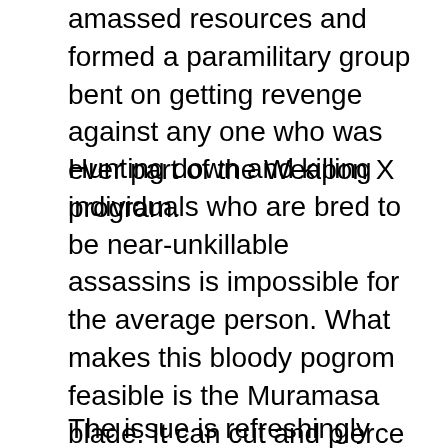amassed resources and formed a paramilitary group bent on getting revenge against any one who was ever part of the Weapon X program.
Hunting down and killing individuals who are bred to be near-unkillable assassins is impossible for the average person. What makes this bloody pogrom feasible is the Muramasa blade. It can cut and pierce through even adamantium (the metal used to coat Wolverine’s bones) and arrests the target’s healing abilities on the molecular level. The Orphans of X have turned the Muramasa blade into bullets.
The issue is refreshingly fast-paced. It is self-contained to a degree: a reader who is